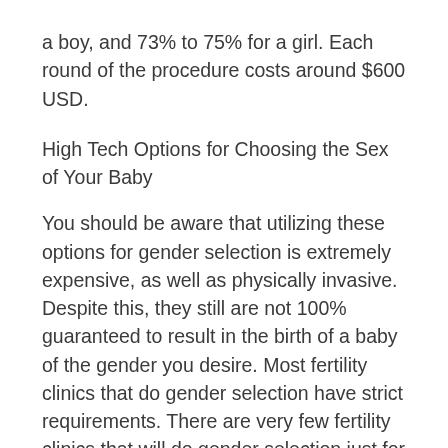a boy, and 73% to 75% for a girl. Each round of the procedure costs around $600 USD.
High Tech Options for Choosing the Sex of Your Baby
You should be aware that utilizing these options for gender selection is extremely expensive, as well as physically invasive. Despite this, they still are not 100% guaranteed to result in the birth of a baby of the gender you desire. Most fertility clinics that do gender selection have strict requirements. There are very few fertility clinics that will do gender selection just for the purpose of choosing the sex of a baby.